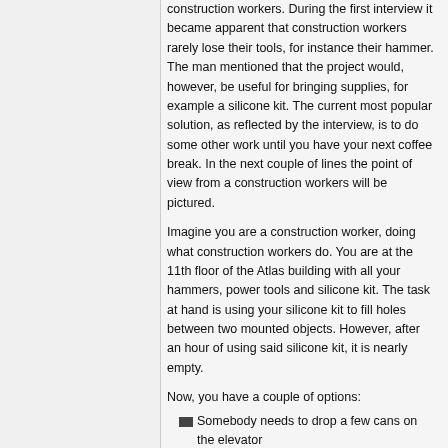construction workers. During the first interview it became apparent that construction workers rarely lose their tools, for instance their hammer. The man mentioned that the project would, however, be useful for bringing supplies, for example a silicone kit. The current most popular solution, as reflected by the interview, is to do some other work until you have your next coffee break. In the next couple of lines the point of view from a construction workers will be pictured.
Imagine you are a construction worker, doing what construction workers do. You are at the 11th floor of the Atlas building with all your hammers, power tools and silicone kit. The task at hand is using your silicone kit to fill holes between two mounted objects. However, after an hour of using said silicone kit, it is nearly empty.
Now, you have a couple of options:
Somebody needs to drop a few cans on the elevator
You do something else in the time between